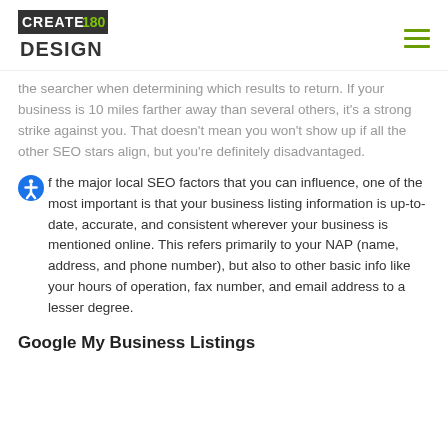[Figure (logo): Create180 Design logo — text logo with CREATE180 in bold with green '180' and DESIGN underneath]
the searcher when determining which results to return. If your business is 10 miles farther away than several others, it's a strong strike against you. That doesn't mean you won't show up if all the other SEO stars align, but you're definitely disadvantaged.
Of the major local SEO factors that you can influence, one of the most important is that your business listing information is up-to-date, accurate, and consistent wherever your business is mentioned online. This refers primarily to your NAP (name, address, and phone number), but also to other basic info like your hours of operation, fax number, and email address to a lesser degree.
Google My Business Listings